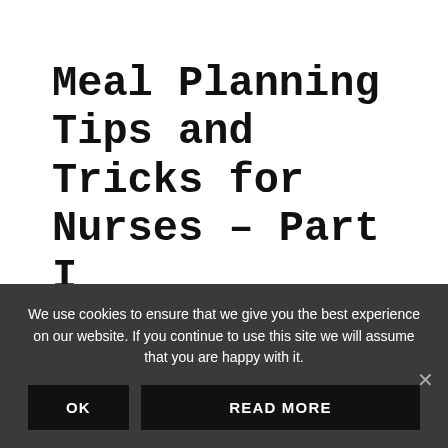Meal Planning Tips and Tricks for Nurses – Part I
AUGUST 24, 2015 By KATI KLEBER, MSN RN — Leave a Comment
Learning how to get my meals together was a
We use cookies to ensure that we give you the best experience on our website. If you continue to use this site we will assume that you are happy with it.